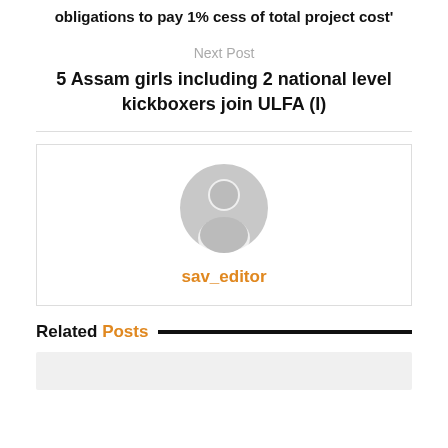obligations to pay 1% cess of total project cost'
Next Post
5 Assam girls including 2 national level kickboxers join ULFA (I)
[Figure (illustration): Generic user avatar icon (grey silhouette of a person) centered in a box]
sav_editor
Related Posts